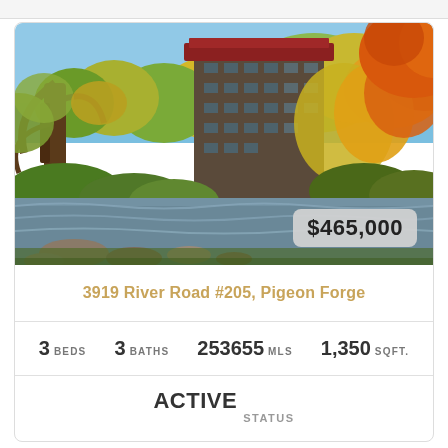[Figure (photo): Autumn landscape photo showing a multi-story lodge/condo building with dark exterior and red roof, surrounded by trees with yellow and orange fall foliage, with a rocky river or creek in the foreground, blue sky visible. Price badge overlay showing $465,000 in lower right.]
3919 River Road #205, Pigeon Forge
3 BEDS   3 BATHS   253655 MLS   1,350 SQFT.
ACTIVE STATUS